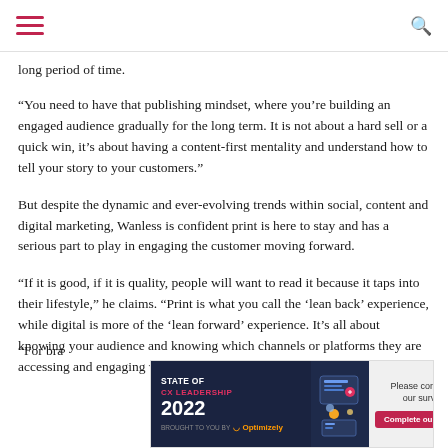[hamburger menu] [search icon]
long period of time.
“You need to have that publishing mindset, where you’re building an engaged audience gradually for the long term. It is not about a hard sell or a quick win, it’s about having a content-first mentality and understand how to tell your story to your customers.”
But despite the dynamic and ever-evolving trends within social, content and digital marketing, Wanless is confident print is here to stay and has a serious part to play in engaging the customer moving forward.
“If it is good, if it is quality, people will want to read it because it taps into their lifestyle,” he claims. “Print is what you call the ‘lean back’ experience, while digital is more of the ‘lean forward’ experience. It’s all about knowing your audience and knowing which channels or platforms they are accessing and engaging with.
[Figure (infographic): Advertisement banner for 'State of CX Leadership 2022' survey by Optimizely. Left dark blue section with title text and sponsor logo, center section with illustration of people working digitally, right light section with 'Please complete our survey' text and red 'Complete our survey' button.]
“For bra…